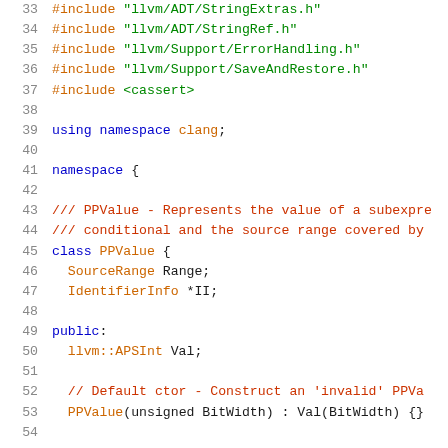33  #include "llvm/ADT/StringExtras.h"
34  #include "llvm/ADT/StringRef.h"
35  #include "llvm/Support/ErrorHandling.h"
36  #include "llvm/Support/SaveAndRestore.h"
37  #include <cassert>
38
39  using namespace clang;
40
41  namespace {
42
43  /// PPValue - Represents the value of a subexpre
44  /// conditional and the source range covered by
45  class PPValue {
46    SourceRange Range;
47    IdentifierInfo *II;
48
49  public:
50    llvm::APSInt Val;
51
52    // Default ctor - Construct an 'invalid' PPVa
53    PPValue(unsigned BitWidth) : Val(BitWidth) {}
54